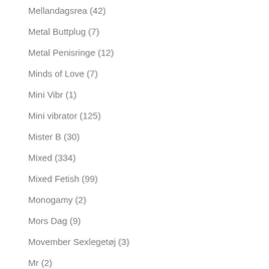Mellandagsrea (42)
Metal Buttplug (7)
Metal Penisringe (12)
Minds of Love (7)
Mini Vibr (1)
Mini vibrator (125)
Mister B (30)
Mixed (334)
Mixed Fetish (99)
Monogamy (2)
Mors Dag (9)
Movember Sexlegetøj (3)
Mr (2)
Mr. Me (1)
Mr. Memb (1)